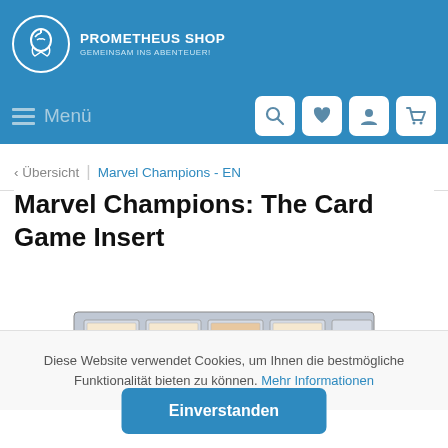Prometheus Shop – Gemeinsam ins Abenteuer!
Menü
< Übersicht | Marvel Champions - EN
Marvel Champions: The Card Game Insert
[Figure (photo): Photo of a board game insert organizer with multiple compartments holding cards and components.]
Diese Website verwendet Cookies, um Ihnen die bestmögliche Funktionalität bieten zu können. Mehr Informationen
Einverstanden